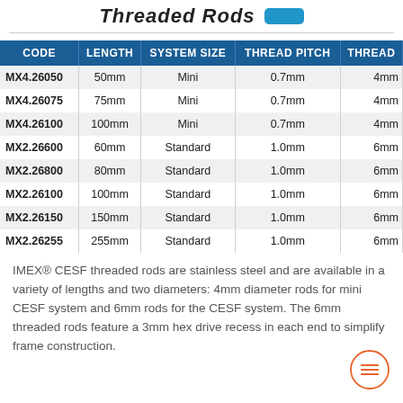Threaded Rods
| CODE | LENGTH | SYSTEM SIZE | THREAD PITCH | THREAD |
| --- | --- | --- | --- | --- |
| MX4.26050 | 50mm | Mini | 0.7mm | 4mm |
| MX4.26075 | 75mm | Mini | 0.7mm | 4mm |
| MX4.26100 | 100mm | Mini | 0.7mm | 4mm |
| MX2.26600 | 60mm | Standard | 1.0mm | 6mm |
| MX2.26800 | 80mm | Standard | 1.0mm | 6mm |
| MX2.26100 | 100mm | Standard | 1.0mm | 6mm |
| MX2.26150 | 150mm | Standard | 1.0mm | 6mm |
| MX2.26255 | 255mm | Standard | 1.0mm | 6mm |
IMEX® CESF threaded rods are stainless steel and are available in a variety of lengths and two diameters: 4mm diameter rods for mini CESF system and 6mm rods for the CESF system. The 6mm threaded rods feature a 3mm hex drive recess in each end to simplify frame construction.